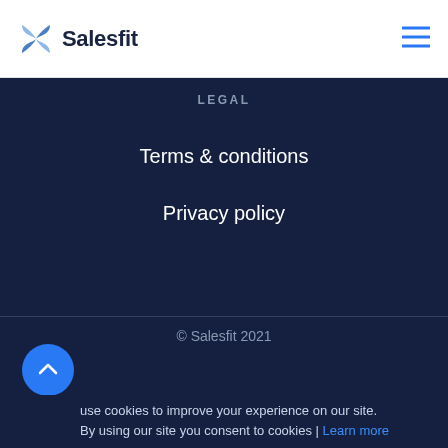Salesfit
LEGAL
Terms & conditions
Privacy policy
© Salesfit 2021
use cookies to improve your experience on our site. By using our site you consent to cookies | Learn more